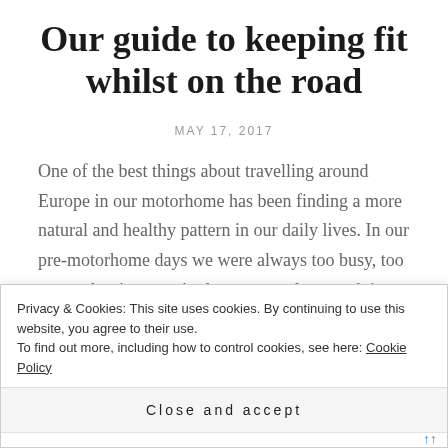Our guide to keeping fit whilst on the road
MAY 17, 2017
One of the best things about travelling around Europe in our motorhome has been finding a more natural and healthy pattern in our daily lives. In our pre-motorhome days we were always too busy, too stressed or just too tired to contemplate much in the way of exercise, and when we did it was often crammed
Privacy & Cookies: This site uses cookies. By continuing to use this website, you agree to their use.
To find out more, including how to control cookies, see here: Cookie Policy
Close and accept